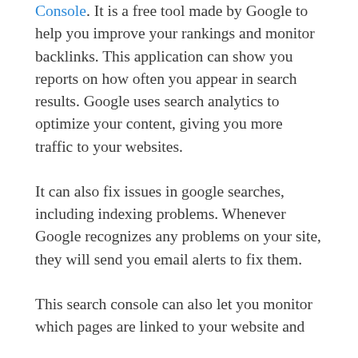Console. It is a free tool made by Google to help you improve your rankings and monitor backlinks. This application can show you reports on how often you appear in search results. Google uses search analytics to optimize your content, giving you more traffic to your websites.
It can also fix issues in google searches, including indexing problems. Whenever Google recognizes any problems on your site, they will send you email alerts to fix them.
This search console can also let you monitor which pages are linked to your website and